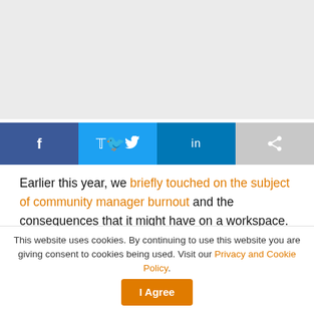[Figure (other): Gray image placeholder area at top of page]
[Figure (other): Social share buttons row: Facebook, Twitter, LinkedIn, Share]
Earlier this year, we briefly touched on the subject of community manager burnout and the consequences that it might have on a workspace.
As we recently observed in an article, human beings are social creatures, which is why many individuals continue to choose going into a workplace instead of working from home. Flexible workspaces have increased in popularity
This website uses cookies. By continuing to use this website you are giving consent to cookies being used. Visit our Privacy and Cookie Policy.